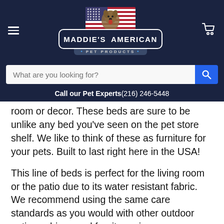[Figure (logo): Maddie's American Pet Products logo with American flag and dog image on dark navy header background]
[Figure (screenshot): Search bar with placeholder 'What are you looking for?' and blue search button]
Call our Pet Experts(216) 246-5448
room or decor. These beds are sure to be unlike any bed you've seen on the pet store shelf. We like to think of these as furniture for your pets. Built to last right here in the USA!
This line of beds is perfect for the living room or the patio due to its water resistant fabric. We recommend using the same care standards as you would with other outdoor patio cushions and furniture pieces.
Key Features